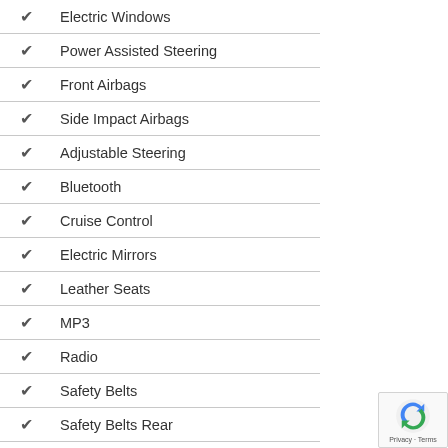Electric Windows
Power Assisted Steering
Front Airbags
Side Impact Airbags
Adjustable Steering
Bluetooth
Cruise Control
Electric Mirrors
Leather Seats
MP3
Radio
Safety Belts
Safety Belts Rear
Satellite Navigation
Traction Control